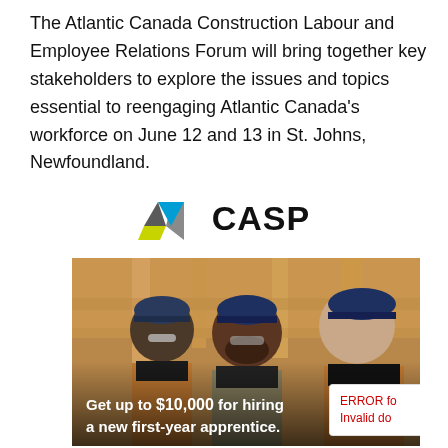The Atlantic Canada Construction Labour and Employee Relations Forum will bring together key stakeholders to explore the issues and topics essential to reengaging Atlantic Canada's workforce on June 12 and 13 in St. Johns, Newfoundland.
[Figure (logo): CASP logo with blue and yellow/grey geometric triangle shapes and bold text 'CASP']
[Figure (photo): Three construction workers wearing dark blue hard hats and safety glasses smiling inside a building under construction. Text overlay reads: Get up to $10,000 for hiring a new first-year apprentice.]